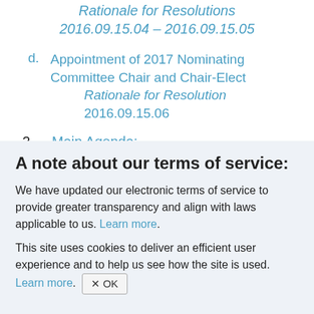Rationale for Resolutions 2016.09.15.04 – 2016.09.15.05
d. Appointment of 2017 Nominating Committee Chair and Chair-Elect Rationale for Resolution 2016.09.15.06
2. Main Agenda:
a. IANA Naming Function Contract between ICANN and PTI
A note about our terms of service:
We have updated our electronic terms of service to provide greater transparency and align with laws applicable to us. Learn more.
This site uses cookies to deliver an efficient user experience and to help us see how the site is used. Learn more. OK